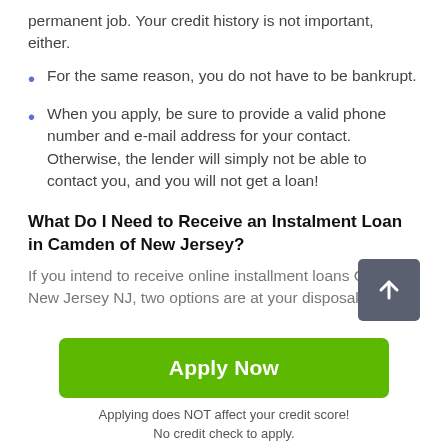permanent job. Your credit history is not important, either.
For the same reason, you do not have to be bankrupt.
When you apply, be sure to provide a valid phone number and e-mail address for your contact. Otherwise, the lender will simply not be able to contact you, and you will not get a loan!
What Do I Need to Receive an Instalment Loan in Camden of New Jersey?
If you intend to receive online installment loans Camden New Jersey NJ, two options are at your disposal:
[Figure (other): Scroll-to-top button with upward arrow on dark grey background]
Apply Now
Applying does NOT affect your credit score!
No credit check to apply.